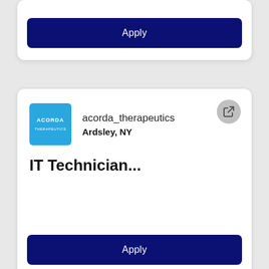Apply
acorda_therapeutics
Ardsley, NY
IT Technician...
Apply